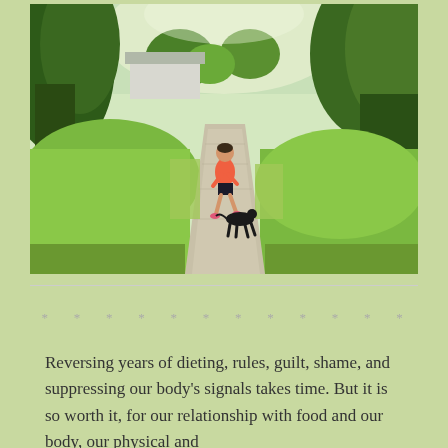[Figure (photo): A woman in a pink/coral tank top and black shorts running on a dirt path through green fields with trees on both sides, with a black dog running alongside her. A white building is visible in the background. Outdoor summer scene.]
* * * * * * * * * * * *
Reversing years of dieting, rules, guilt, shame, and suppressing our body’s signals takes time. But it is so worth it, for our relationship with food and our body, our physical and